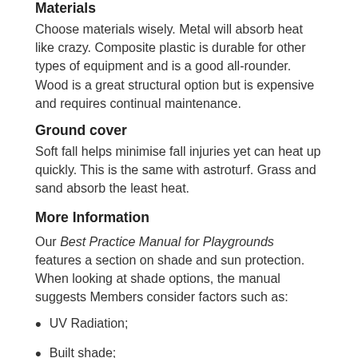Materials
Choose materials wisely. Metal will absorb heat like crazy. Composite plastic is durable for other types of equipment and is a good all-rounder. Wood is a great structural option but is expensive and requires continual maintenance.
Ground cover
Soft fall helps minimise fall injuries yet can heat up quickly. This is the same with astroturf. Grass and sand absorb the least heat.
More Information
Our Best Practice Manual for Playgrounds features a section on shade and sun protection. When looking at shade options, the manual suggests Members consider factors such as:
UV Radiation;
Built shade;